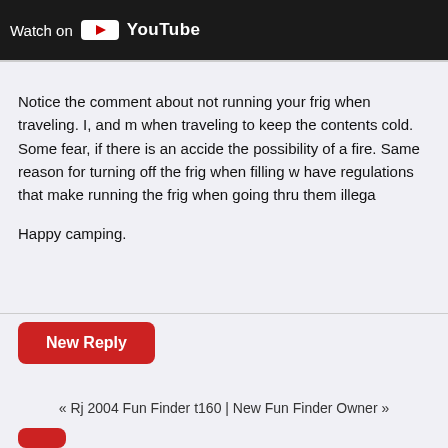[Figure (screenshot): YouTube video embed bar showing 'Watch on YouTube' with YouTube play button icon against dark background]
Notice the comment about not running your frig when traveling. I, and m when traveling to keep the contents cold. Some fear, if there is an accide the possibility of a fire. Same reason for turning off the frig when filling w have regulations that make running the frig when going thru them illega
Happy camping.
New Reply
« Rj 2004 Fun Finder t160 | New Fun Finder Owner »